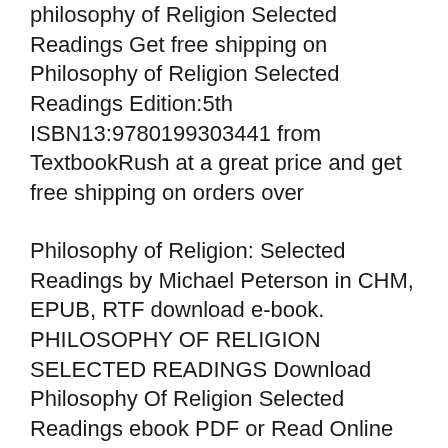philosophy of religion selected readings Get free shipping on Philosophy of Religion Selected Readings Edition:5th ISBN13:9780199303441 from TextbookRush at a great price and get free shipping on orders over
Philosophy of Religion: Selected Readings by Michael Peterson in CHM, EPUB, RTF download e-book. PHILOSOPHY OF RELIGION SELECTED READINGS Download Philosophy Of Religion Selected Readings ebook PDF or Read Online books in PDF, EPUB, and Mobi Format.
COUPON: Rent Philosophy of Religion Selected Readings 5th edition